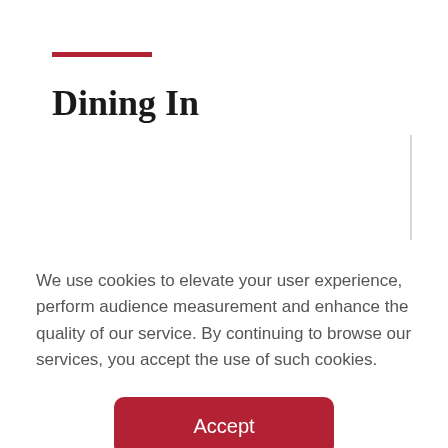Dining In
We use cookies to elevate your user experience, perform audience measurement and enhance the quality of our service. By continuing to browse our services, you accept the use of such cookies.
Accept